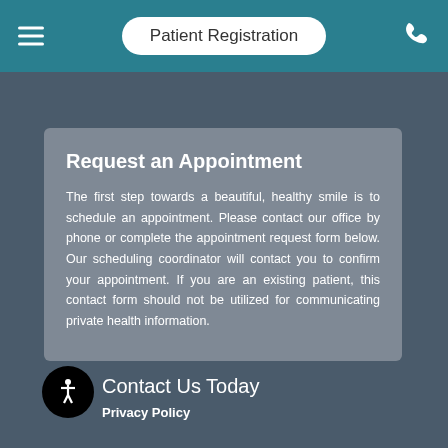Patient Registration
Request an Appointment
The first step towards a beautiful, healthy smile is to schedule an appointment. Please contact our office by phone or complete the appointment request form below. Our scheduling coordinator will contact you to confirm your appointment. If you are an existing patient, this contact form should not be utilized for communicating private health information.
Contact Us Today
Privacy Policy